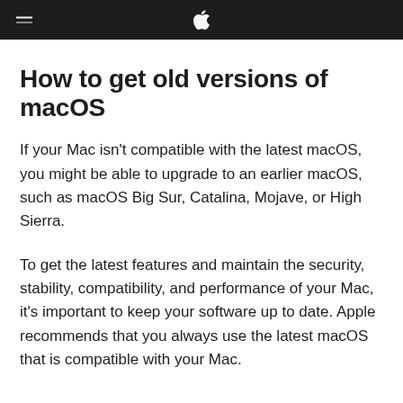Apple navigation bar with menu icon and Apple logo
How to get old versions of macOS
If your Mac isn't compatible with the latest macOS, you might be able to upgrade to an earlier macOS, such as macOS Big Sur, Catalina, Mojave, or High Sierra.
To get the latest features and maintain the security, stability, compatibility, and performance of your Mac, it's important to keep your software up to date. Apple recommends that you always use the latest macOS that is compatible with your Mac.